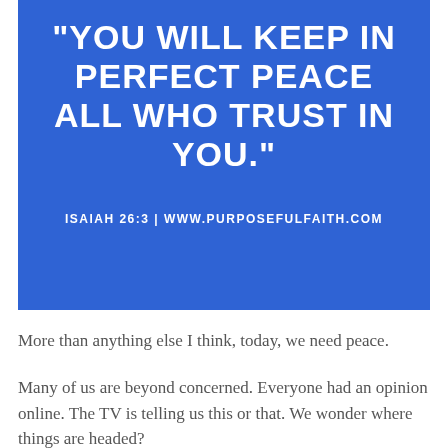[Figure (infographic): Blue rectangle with bold white uppercase text showing a Bible quote: "You will keep in perfect peace all who trust in you." with citation ISAIAH 26:3 | WWW.PURPOSEFULFAITH.COM]
More than anything else I think, today, we need peace.
Many of us are beyond concerned. Everyone had an opinion online. The TV is telling us this or that. We wonder where things are headed?